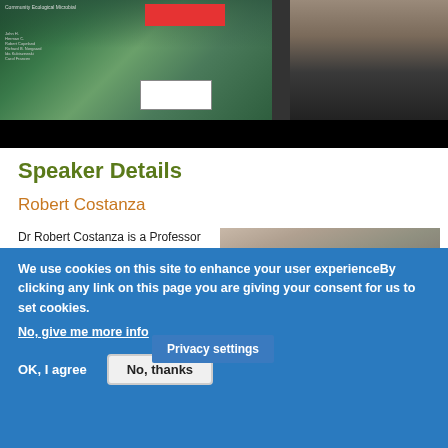[Figure (photo): Top banner with book cover showing coastal landscape and a person, alongside a portrait photo of a speaker]
Speaker Details
Robert Costanza
Dr Robert Costanza is a Professor and Chair in Public Policy at the Crawford School of Public Policy. Dr Cos
[Figure (photo): Headshot photo of Robert Costanza, an older man with grey hair]
Privacy settings
We use cookies on this site to enhance your user experienceBy clicking any link on this page you are giving your consent for us to set cookies.
No, give me more info
OK, I agree
No, thanks